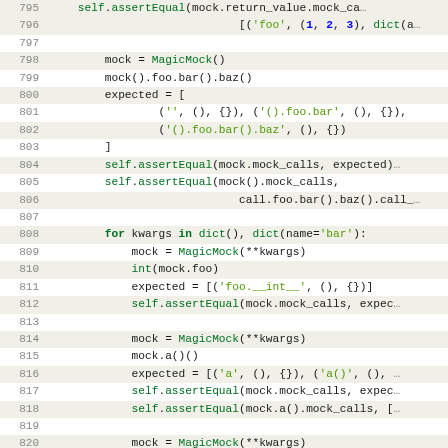[Figure (screenshot): Python source code listing, lines 795–826, showing unit test code using MagicMock with assertEqual assertions and for-loop patterns. Uses monospace font with alternating highlighted rows for even-numbered lines.]